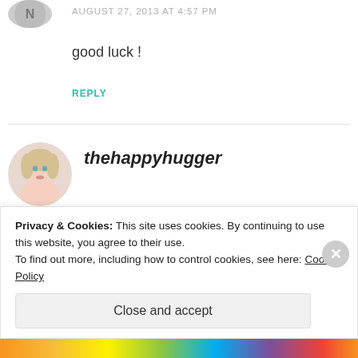[Figure (photo): Partial avatar image at top left, cropped circle showing dark silhouette/initials]
AUGUST 27, 2013 AT 4:57 PM
good luck !
REPLY
[Figure (photo): Circular avatar photo of a blonde woman]
thehappyhugger
AUGUST 27, 2013 AT 4:58 PM
Thanks.
Privacy & Cookies: This site uses cookies. By continuing to use this website, you agree to their use.
To find out more, including how to control cookies, see here: Cookie Policy
Close and accept